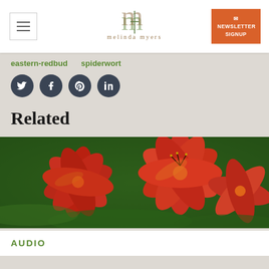melinda myers - Newsletter Signup
eastern-redbud   spiderwort
[Figure (other): Four dark circular social media icon buttons: Twitter, Facebook, Pinterest, LinkedIn]
Related
[Figure (photo): Photograph of red/orange daylily flowers in bloom with green foliage in the background]
AUDIO